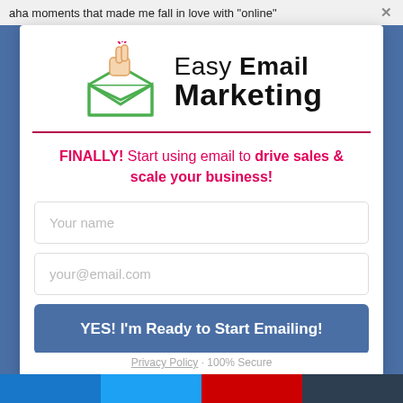aha moments that made me fall in love with "online"
[Figure (logo): Easy Email Marketing logo: a hand with crossed fingers emerging from an open green envelope, next to the text 'Easy Email Marketing']
FINALLY! Start using email to drive sales & scale your business!
Your name
your@email.com
YES! I'm Ready to Start Emailing!
Privacy Policy · 100% Secure